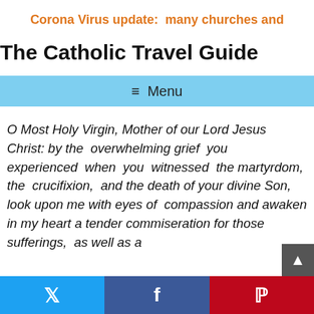Corona Virus update:  many churches and
The Catholic Travel Guide
≡ Menu
O Most Holy Virgin, Mother of our Lord Jesus Christ: by the overwhelming grief you experienced when you witnessed the martyrdom, the crucifixion, and the death of your divine Son, look upon me with eyes of compassion and awaken in my heart a tender commiseration for those sufferings,  as well as a